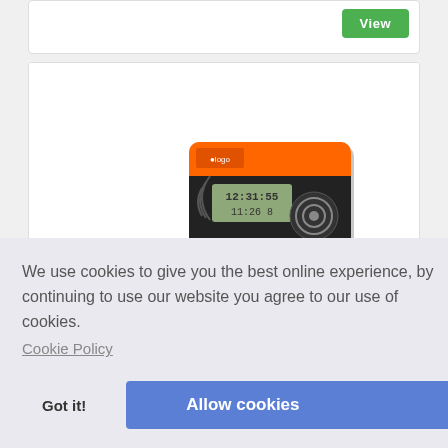[Figure (screenshot): Top portion of a product listing card with a green 'View' button on the right side]
[Figure (photo): Electronic data logger device with orange and black face, LCD display showing numbers, attached with a grey cable]
na
nise
le...
We use cookies to give you the best online experience, by continuing to use our website you agree to our use of cookies.
Cookie Policy
Got it!
Allow cookies
[Figure (screenshot): Bottom stub of another product listing card with orange top border and green 'View' button]